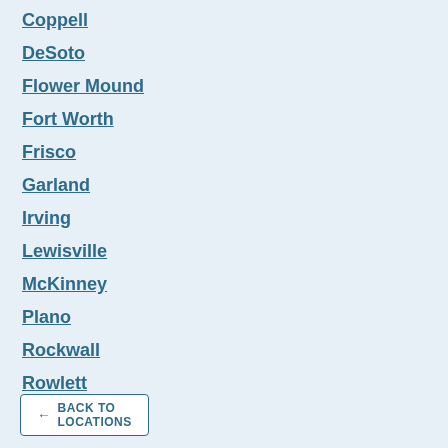Coppell
DeSoto
Flower Mound
Fort Worth
Frisco
Garland
Irving
Lewisville
McKinney
Plano
Rockwall
Rowlett
North Dallas
← BACK TO LOCATIONS